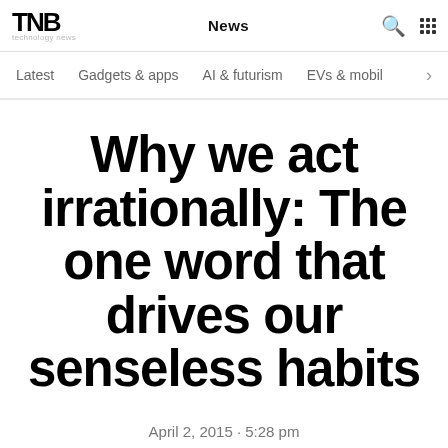TNB News
Latest   Gadgets & apps   AI & futurism   EVs & mobil >
Why we act irrationally: The one word that drives our senseless habits
April 2, 2015 · 5:28 pm